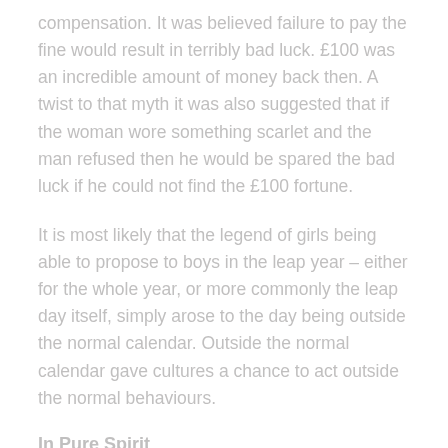compensation. It was believed failure to pay the fine would result in terribly bad luck. £100 was an incredible amount of money back then. A twist to that myth it was also suggested that if the woman wore something scarlet and the man refused then he would be spared the bad luck if he could not find the £100 fortune.
It is most likely that the legend of girls being able to propose to boys in the leap year – either for the whole year, or more commonly the leap day itself, simply arose to the day being outside the normal calendar. Outside the normal calendar gave cultures a chance to act outside the normal behaviours.
In Pure Spirit